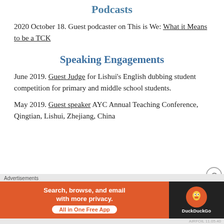Podcasts
2020 October 18. Guest podcaster on This is We: What it Means to be a TCK
Speaking Engagements
June 2019. Guest Judge for Lishui’s English dubbing student competition for primary and middle school students.
May 2019. Guest speaker AYC Annual Teaching Conference, Qingtian, Lishui, Zhejiang, China
[Figure (screenshot): DuckDuckGo advertisement banner: orange section with text 'Search, browse, and email with more privacy. All in One Free App' and dark section with DuckDuckGo logo]
Advertisements